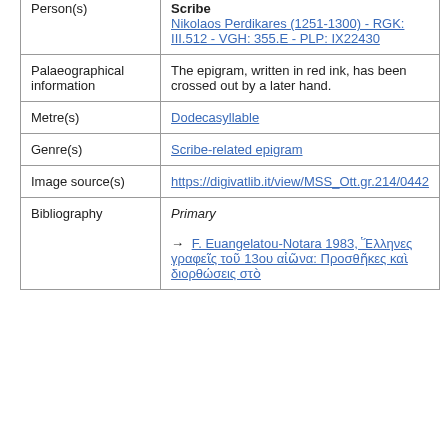| Field | Value |
| --- | --- |
| Person(s) | Scribe
Nikolaos Perdikares (1251-1300) - RGK: III.512 - VGH: 355.E - PLP: IX22430 |
| Palaeographical information | The epigram, written in red ink, has been crossed out by a later hand. |
| Metre(s) | Dodecasyllable |
| Genre(s) | Scribe-related epigram |
| Image source(s) | https://digivatlib.it/view/MSS_Ott.gr.214/0442 |
| Bibliography | Primary
→ F. Euangelatou-Notara 1983, Ἕλληνες γραφεῖς τοῦ 13ου αἰῶνα: Προσθῆκες καὶ διορθώσεις στὸ |